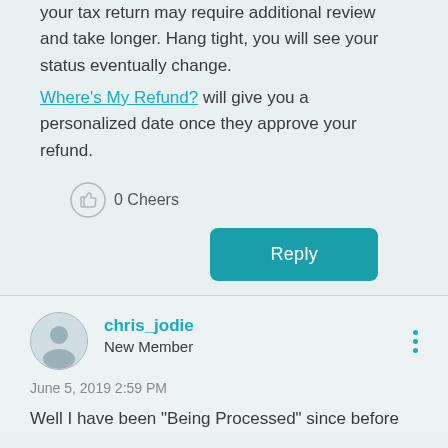your tax return may require additional review and take longer. Hang tight, you will see your status eventually change. Where's My Refund? will give you a personalized date once they approve your refund.
0 Cheers
Reply
chris_jodie
New Member
June 5, 2019 2:59 PM
Well I have been "Being Processed" since before